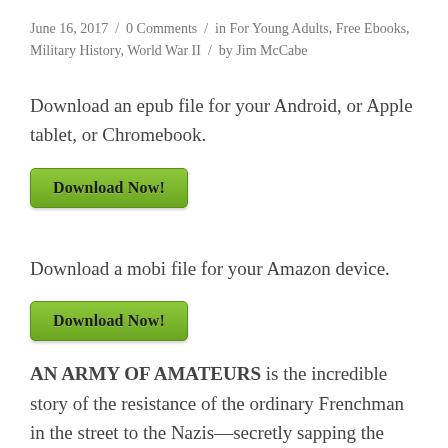June 16, 2017 / 0 Comments / in For Young Adults, Free Ebooks, Military History, World War II / by Jim McCabe
Download an epub file for your Android, or Apple tablet, or Chromebook.
[Figure (other): Green Download Now! button for epub file]
Download a mobi file for your Amazon device.
[Figure (other): Green Download Now! button for mobi file]
AN ARMY OF AMATEURS is the incredible story of the resistance of the ordinary Frenchman in the street to the Nazis—secretly sapping the strength of the invading armies until the final Allied victory. Here is a picture of a group of dedicated but inexperienced citizens who risked